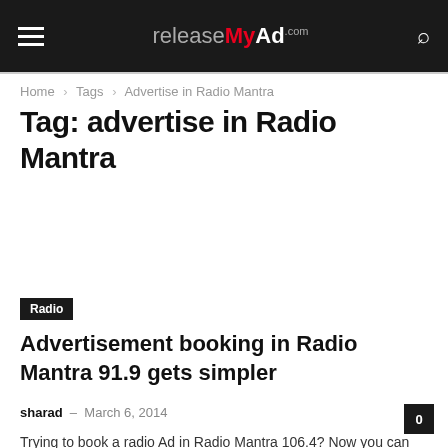releaseMyAd.com
Home › Tags › Advertise in Radio Mantra
Tag: advertise in Radio Mantra
Radio
Advertisement booking in Radio Mantra 91.9 gets simpler
sharad – March 6, 2014
Trying to book a radio Ad in Radio Mantra 106.4? Now you can book